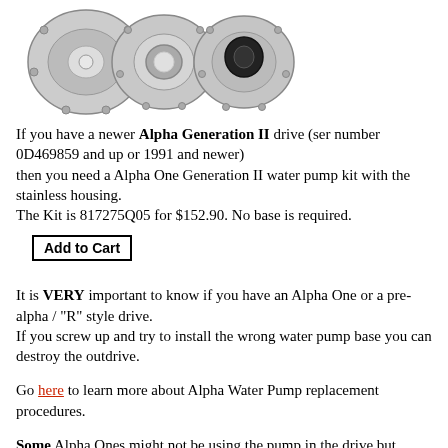[Figure (photo): Three water pump components shown: a metal housing plate, a plate with O-ring/seal, and a housing with black impeller/seal, all shown from above on white background.]
If you have a newer Alpha Generation II drive (ser number 0D469859 and up or 1991 and newer) then you need a Alpha One Generation II water pump kit with the stainless housing. The Kit is 817275Q05 for $152.90. No base is required.
Add to Cart
It is VERY important to know if you have an Alpha One or a pre-alpha / "R" style drive. If you screw up and try to install the wrong water pump base you can destroy the outdrive.
Go here to learn more about Alpha Water Pump replacement procedures.
Some Alpha Ones might not be using the pump in the drive but instead have elected to use a belt driven sea water pump. This is usually the case with closed cooling system equipped